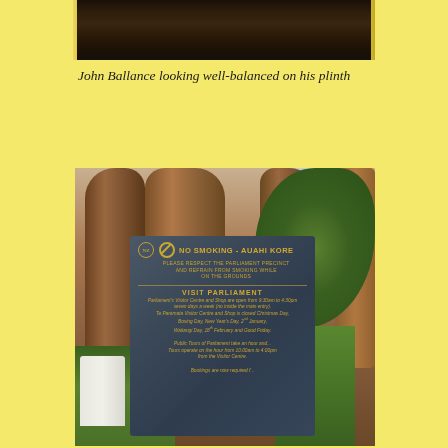[Figure (photo): Close-up photo of a dark statue or figure on a plinth, dark tones]
John Ballance looking well-balanced on his plinth
[Figure (photo): Photo of large gnarled tree trunks in a garden with a blue No Smoking sign in the foreground reading 'NO SMOKING - AUAHI KORE' and 'VISIT PARLIAMENT' with visitor information text, at Parliament grounds]